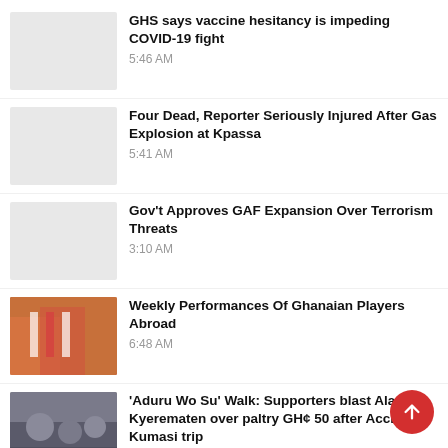GHS says vaccine hesitancy is impeding COVID-19 fight — 5:46 AM
Four Dead, Reporter Seriously Injured After Gas Explosion at Kpassa — 5:41 AM
Gov't Approves GAF Expansion Over Terrorism Threats — 3:10 AM
Weekly Performances Of Ghanaian Players Abroad — 6:48 AM
'Aduru Wo Su' Walk: Supporters blast Alan Kyerematen over paltry GH¢ 50 after Accra-Kumasi trip — 5:35 AM
[Figure (photo): Soccer players in red and white striped jerseys]
[Figure (photo): People in a group photo or gathering]